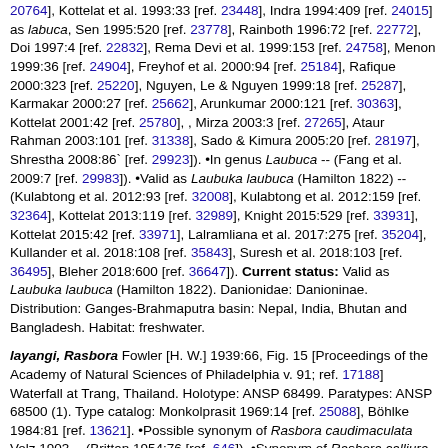20764], Kottelat et al. 1993:33 [ref. 23448], Indra 1994:409 [ref. 24015] as labuca, Sen 1995:520 [ref. 23778], Rainboth 1996:72 [ref. 22772], Doi 1997:4 [ref. 22832], Rema Devi et al. 1999:153 [ref. 24758], Menon 1999:36 [ref. 24904], Freyhof et al. 2000:94 [ref. 25184], Rafique 2000:323 [ref. 25220], Nguyen, Le & Nguyen 1999:18 [ref. 25287], Karmakar 2000:27 [ref. 25662], Arunkumar 2000:121 [ref. 30363], Kottelat 2001:42 [ref. 25780], , Mirza 2003:3 [ref. 27265], Ataur Rahman 2003:101 [ref. 31338], Sado & Kimura 2005:20 [ref. 28197], Shrestha 2008:86` [ref. 29923]). •In genus Laubuca -- (Fang et al. 2009:7 [ref. 29983]). •Valid as Laubuka laubuca (Hamilton 1822) -- (Kulabtong et al. 2012:93 [ref. 32008], Kulabtong et al. 2012:159 [ref. 32364], Kottelat 2013:119 [ref. 32989], Knight 2015:529 [ref. 33931], Kottelat 2015:42 [ref. 33971], Lalramliana et al. 2017:275 [ref. 35204], Kullander et al. 2018:108 [ref. 35843], Suresh et al. 2018:103 [ref. 36495], Bleher 2018:600 [ref. 36647]). Current status: Valid as Laubuka laubuca (Hamilton 1822). Danionidae: Danioninae. Distribution: Ganges-Brahmaputra basin: Nepal, India, Bhutan and Bangladesh. Habitat: freshwater.
layangi, Rasbora Fowler [H. W.] 1939:66, Fig. 15 [Proceedings of the Academy of Natural Sciences of Philadelphia v. 91; ref. 17188] Waterfall at Trang, Thailand. Holotype: ANSP 68499. Paratypes: ANSP 68500 (1). Type catalog: Monkolprasit 1969:14 [ref. 25088], Böhlke 1984:81 [ref. 13621]. •Possible synonym of Rasbora caudimaculata Volz 1903 -- (Brittan 1954:76 [ref. 646]). •Synonym of Rasbora calliura Boulenger 1894 -- (Kottelat 2013:151 [ref. 32989]). Current status: Synonym of Rasbora calliura Boulenger 1894. Danionidae: Rasborinae. Habitat: freshwater.